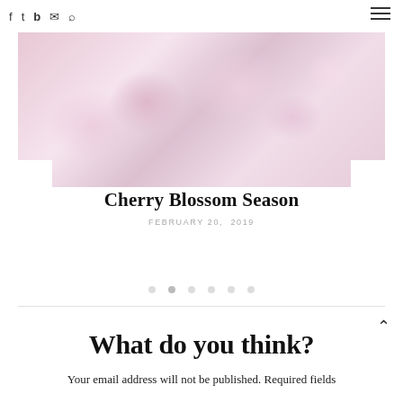Social icons: Facebook, Twitter, Bloglovin, Email, RSS | Hamburger menu
[Figure (photo): Close-up photo of pink cherry blossoms with soft bokeh background]
Cherry Blossom Season
FEBRUARY 20, 2019
[Figure (other): Carousel navigation dots, 6 dots with second one active]
What do you think?
Your email address will not be published. Required fields